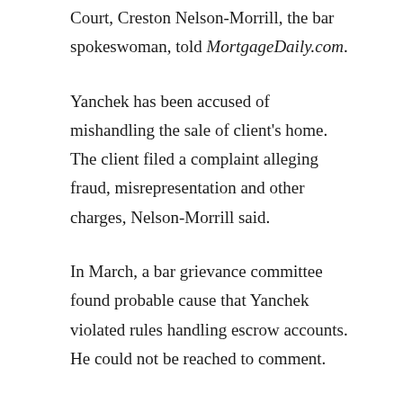Court, Creston Nelson-Morrill, the bar spokeswoman, told MortgageDaily.com.
Yanchek has been accused of mishandling the sale of client's home. The client filed a complaint alleging fraud, misrepresentation and other charges, Nelson-Morrill said.
In March, a bar grievance committee found probable cause that Yanchek violated rules handling escrow accounts. He could not be reached to comment.
Yanchek is best known in Florida as the lawyer for Neil Mohamed Husani, whose real estate dealings have caught the attention of the media and federal investigators.